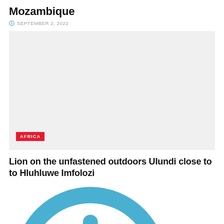Mozambique
SEPTEMBER 2, 2022
[Figure (photo): Large gray placeholder image with red AFRICA tag badge at bottom left]
Lion on the unfastened outdoors Ulundi close to to Hluhluwe Imfolozi
SEPTEMBER 3, 2022